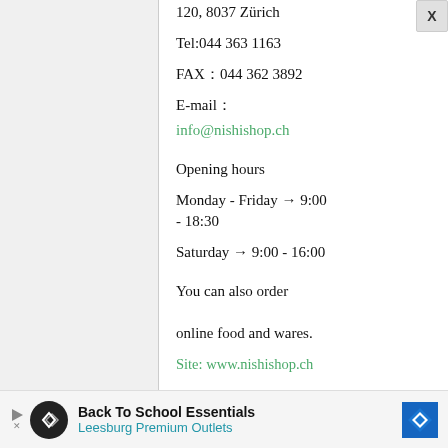120, 8037 Zürich
Tel:044 363 1163
FAX：044 362 3892
E-mail：
info@nishishop.ch
Opening hours
Monday - Friday → 9:00 - 18:30
Saturday → 9:00 - 16:00
You can also order online food and wares.
Site: www.nishishop.ch
[Figure (other): Advertisement banner: Back To School Essentials - Leesburg Premium Outlets]